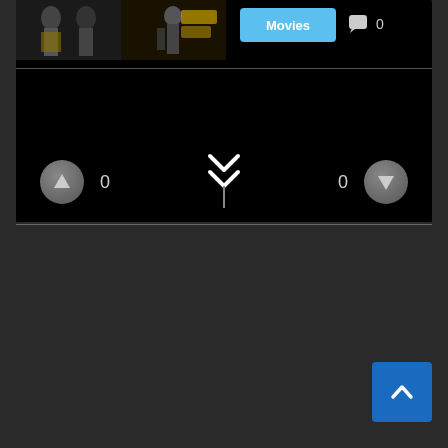[Figure (screenshot): Mobile app screenshot showing movie posters on the left, a blue 'Movies' button, a comment icon with count 0, vote up button with count 0, chevron/collapse icon in center, vote down button with count 0]
Movies
0
0
0
[Figure (screenshot): Blue back-to-top button with upward chevron arrow in bottom-right corner]